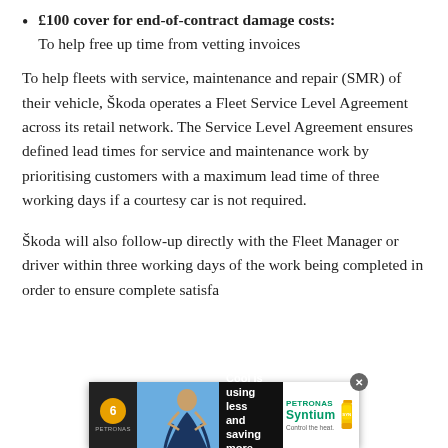£100 cover for end-of-contract damage costs: To help free up time from vetting invoices
To help fleets with service, maintenance and repair (SMR) of their vehicle, Škoda operates a Fleet Service Level Agreement across its retail network. The Service Level Agreement ensures defined lead times for service and maintenance work by prioritising customers with a maximum lead time of three working days if a courtesy car is not required.
Škoda will also follow-up directly with the Fleet Manager or driver within three working days of the work being completed in order to ensure complete satisfa...
[Figure (other): Advertisement banner for PETRONAS Syntium motor oil with text 'Cool is using less and saving more.' showing a person and oil bottle.]